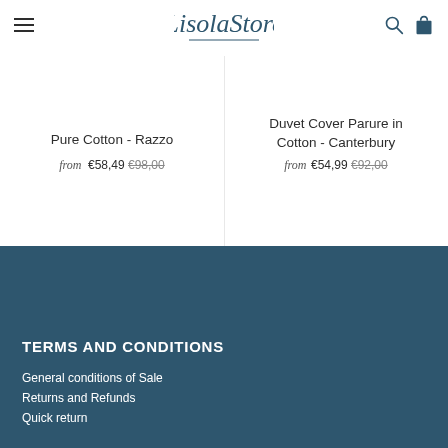Lisola Store — navigation header with menu, logo, search and cart icons
Pure Cotton - Razzo
from €58,49 €98,00
Duvet Cover Parure in Cotton - Canterbury
from €54,99 €92,00
TERMS AND CONDITIONS
General conditions of Sale
Returns and Refunds
Quick return